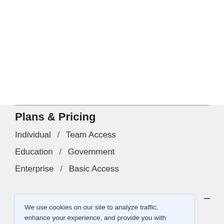Plans & Pricing
Individual  /  Team Access
Education  /  Government
Enterprise  /  Basic Access
We use cookies on our site to analyze traffic, enhance your experience, and provide you with tailored content.
For more information visit our privacy policy.
Accept All Cookies
Support & FAQ